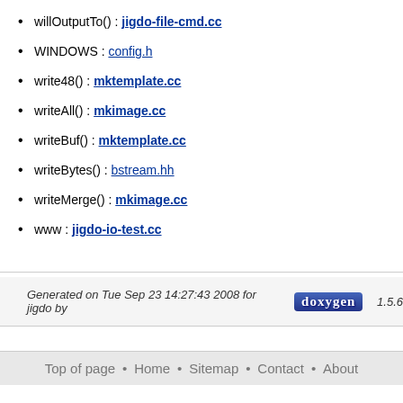willOutputTo() : jigdo-file-cmd.cc
WINDOWS : config.h
write48() : mktemplate.cc
writeAll() : mkimage.cc
writeBuf() : mktemplate.cc
writeBytes() : bstream.hh
writeMerge() : mkimage.cc
www : jigdo-io-test.cc
Generated on Tue Sep 23 14:27:43 2008 for jigdo by  1.5.6
Top of page • Home • Sitemap • Contact • About